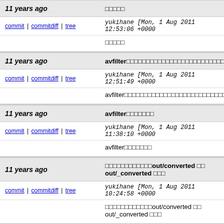11 years ago | □□□□□
commit | commitdiff | tree   yukihane [Mon, 1 Aug 2011 12:53:06 +0000
□□□□□
11 years ago | avfilter□□□□□□□□□□□□□□□□□□□□□□□□□□□□□□□□□□□□□
commit | commitdiff | tree   yukihane [Mon, 1 Aug 2011 12:51:49 +0000
avfilter□□□□□□□□□□□□□□□□□□□□□□□□□□□□□□□□□□□
11 years ago | avfilter□□□□□□□
commit | commitdiff | tree   yukihane [Mon, 1 Aug 2011 11:38:10 +0000
avfilter□□□□□□□
11 years ago | □□□□□□□□□□□□out/converted □□ out/_converted □□□
commit | commitdiff | tree   yukihane [Mon, 1 Aug 2011 10:24:58 +0000
□□□□□□□□□□□□out/converted □□ out/_converted □□□
11 years ago | □□□□□□□□□□□□□
commit | commitdiff | tree   yukihane [Mon, 1 Aug 2011 10:11:58 +0000